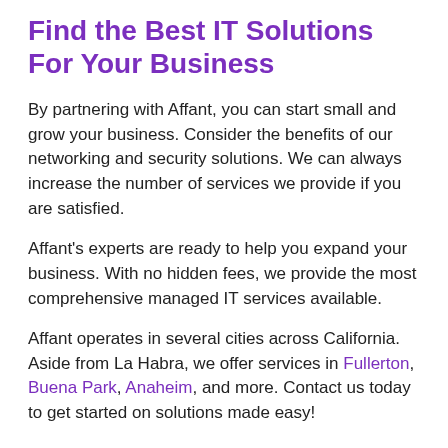Find the Best IT Solutions For Your Business
By partnering with Affant, you can start small and grow your business. Consider the benefits of our networking and security solutions. We can always increase the number of services we provide if you are satisfied.
Affant's experts are ready to help you expand your business. With no hidden fees, we provide the most comprehensive managed IT services available.
Affant operates in several cities across California. Aside from La Habra, we offer services in Fullerton, Buena Park, Anaheim, and more. Contact us today to get started on solutions made easy!